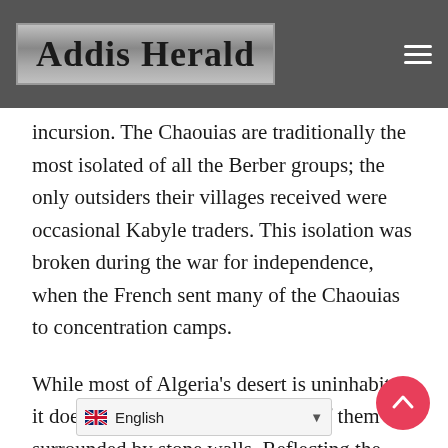Addis Herald
incursion. The Chaouias are traditionally the most isolated of all the Berber groups; the only outsiders their villages received were occasional Kabyle traders. This isolation was broken during the war for independence, when the French sent many of the Chaouias to concentration camps.
While most of Algeria's desert is uninhabited, it does have some villages, many of them surrounded by stone walls. Reflecting the same values of privacy and ins… s also are